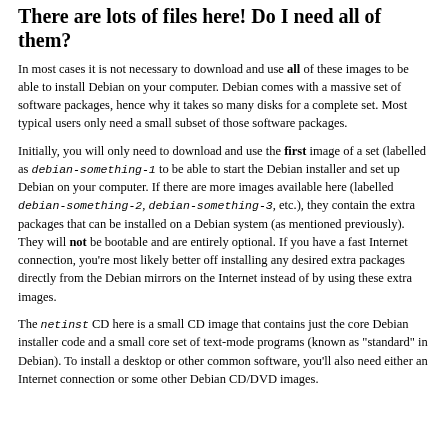There are lots of files here! Do I need all of them?
In most cases it is not necessary to download and use all of these images to be able to install Debian on your computer. Debian comes with a massive set of software packages, hence why it takes so many disks for a complete set. Most typical users only need a small subset of those software packages.
Initially, you will only need to download and use the first image of a set (labelled as debian-something-1 to be able to start the Debian installer and set up Debian on your computer. If there are more images available here (labelled debian-something-2, debian-something-3, etc.), they contain the extra packages that can be installed on a Debian system (as mentioned previously). They will not be bootable and are entirely optional. If you have a fast Internet connection, you're most likely better off installing any desired extra packages directly from the Debian mirrors on the Internet instead of by using these extra images.
The netinst CD here is a small CD image that contains just the core Debian installer code and a small core set of text-mode programs (known as "standard" in Debian). To install a desktop or other common software, you'll also need either an Internet connection or some other Debian CD/DVD images.